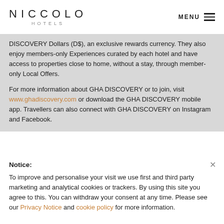[Figure (logo): Niccolo Hotels logo with large spaced letters NICCOLO above smaller text HOTELS]
MENU ☰
DISCOVERY Dollars (D$), an exclusive rewards currency. They also enjoy members-only Experiences curated by each hotel and have access to properties close to home, without a stay, through member-only Local Offers.
For more information about GHA DISCOVERY or to join, visit www.ghadiscovery.com or download the GHA DISCOVERY mobile app. Travellers can also connect with GHA DISCOVERY on Instagram and Facebook.
Notice:
To improve and personalise your visit we use first and third party marketing and analytical cookies or trackers. By using this site you agree to this. You can withdraw your consent at any time. Please see our Privacy Notice and cookie policy for more information.